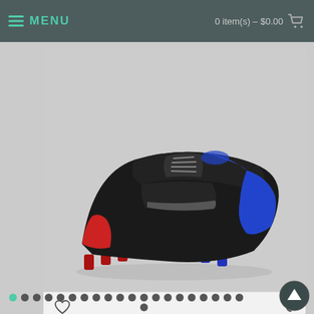MENU   0 item(s) - $0.00
[Figure (photo): Nike Mercurial Vapor XII 360 Elite FG football boot in black with blue and red accents, shown from the side against a light grey background]
Men's Nike Football Boots Mercurial Vapor XII 360 Elite FG Black Blue
$111.00
ADD TO CART